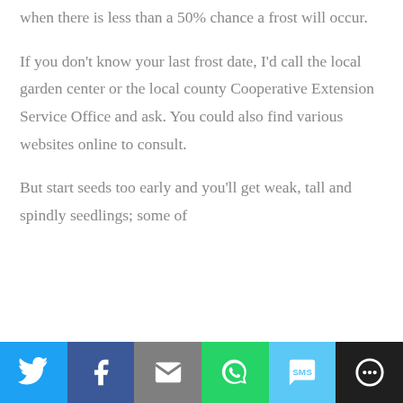when there is less than a 50% chance a frost will occur.
If you don't know your last frost date, I'd call the local garden center or the local county Cooperative Extension Service Office and ask. You could also find various websites online to consult.
But start seeds too early and you'll get weak, tall and spindly seedlings; some of
[Figure (infographic): Social sharing bar with buttons for Twitter (blue), Facebook (dark blue), Email (gray), WhatsApp (green), SMS (light blue), and More (dark/black).]